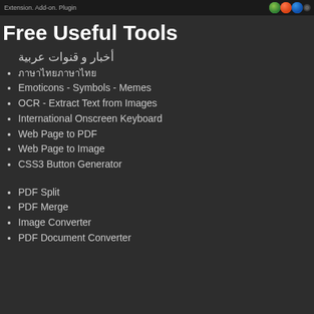[Figure (screenshot): Top banner with text 'Extension. Add-on. Plugin' and browser extension icons on dark background]
Free Useful Tools
أخبار و قنوات عربية
ภาษาไทยภาษาไทย
Emoticons - Symbols - Memes
OCR - Extract Text from Images
International Onscreen Keyboard
Web Page to PDF
Web Page to Image
CSS3 Button Generator
PDF Split
PDF Merge
Image Converter
PDF Document Converter